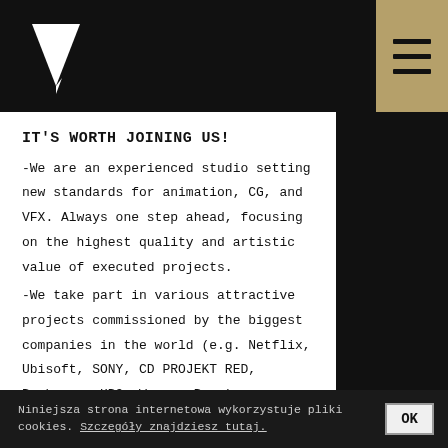[Figure (logo): White downward-pointing triangle/arrow logo on black background]
IT'S WORTH JOINING US!
-We are an experienced studio setting new standards for animation, CG, and VFX. Always one step ahead, focusing on the highest quality and artistic value of executed projects.
-We take part in various attractive projects commissioned by the biggest companies in the world (e.g. Netflix, Ubisoft, SONY, CD PROJEKT RED, Burberry, HBO, Warner Bros).
Niniejsza strona internetowa wykorzystuje pliki cookies. Szczegóły znajdziesz tutaj. OK